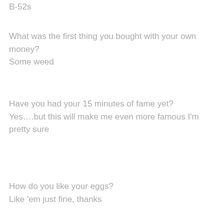B-52s
What was the first thing you bought with your own money?
Some weed
Have you had your 15 minutes of fame yet?
Yes….but this will make me even more famous I'm pretty sure
How do you like your eggs?
Like 'em just fine, thanks